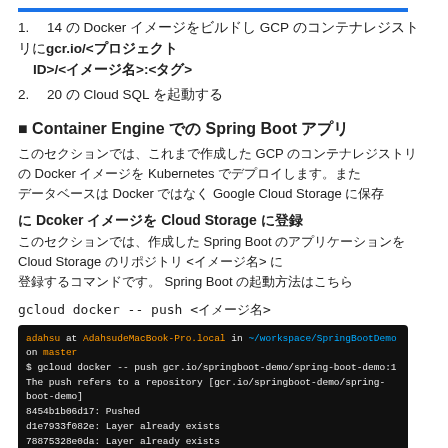1. 　14 の Docker イメージをビルドし GCP のコンテナレジストリにgcr.io/<プロジェクトID>/<イメージ名>:<タグ>
2. 　20 の Cloud SQL を起動する
■ Container Engine での Spring Boot アプリ
このセクションでは、これまで作成した GCP のコンテナレジストリの Docker イメージを Kubernetes でデプロイします。またデータベースは Docker ではなく Google Cloud Storage に保存
に Dcoker イメージを Cloud Storage に登録
このセクションでは、作成した Spring Boot のアプリケーションを Cloud Storage のリポジトリ <イメージ名> に登録するコマンドです。 Spring Boot の起動方法はこちら
gcloud docker -- push <イメージ名>
[Figure (screenshot): Terminal screenshot showing gcloud docker -- push command output with layers pushed to gcr.io/springboot-demo/spring-boot-demo:1]
プロジェクトの確認をしましょう
1. ブラウザで https://gcr.io/<プロジェクト ID>/<イメージ名> にアクセスする